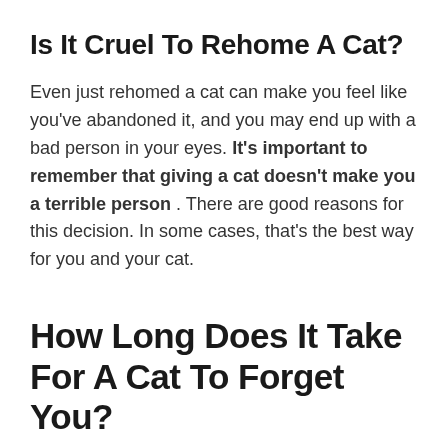Is It Cruel To Rehome A Cat?
Even just rehomed a cat can make you feel like you've abandoned it, and you may end up with a bad person in your eyes. It's important to remember that giving a cat doesn't make you a terrible person . There are good reasons for this decision. In some cases, that's the best way for you and your cat.
How Long Does It Take For A Cat To Forget You?